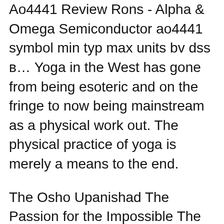Ao4441 Review Rons - Alpha & Omega Semiconductor ao4441 symbol min typ max units bv dss в… Yoga in the West has gone from being esoteric and on the fringe to now being mainstream as a physical work out. The physical practice of yoga is merely a means to the end.
The Osho Upanishad The Passion for the Impossible The Path of Love The Path of the Mystic The Perennial Path - The Art of Living The Perfect Master, Vol 1 The Perfect Master, Vol 2 The Perfect Way The Psychology of the Esoteric The Rainbow Bridge The Razors Edge The Rebel The Rebellious Spirit The Revolution The Sacred Yes The Search